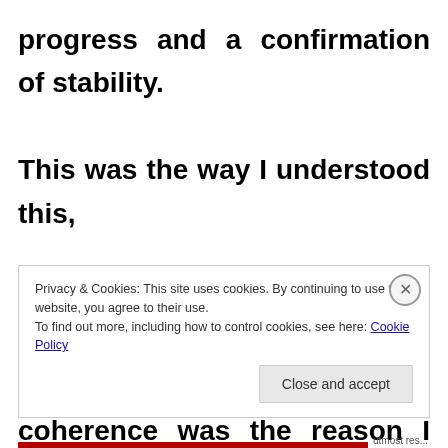progress and a confirmation of stability. This was the way I understood this, because this was the way I felt. That coherence was the reason I was able to accept this, otherwise I tend to be staying away from all those hierarchies, status
Privacy & Cookies: This site uses cookies. By continuing to use this website, you agree to their use.
To find out more, including how to control cookies, see here: Cookie Policy
Close and accept